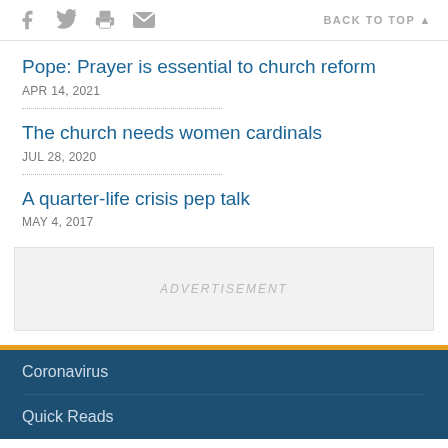Social share icons and BACK TO TOP
Pope: Prayer is essential to church reform
APR 14, 2021
The church needs women cardinals
JUL 28, 2020
A quarter-life crisis pep talk
MAY 4, 2017
[Figure (other): Advertisement placeholder box with text ADVERTISEMENT]
Coronavirus
Quick Reads